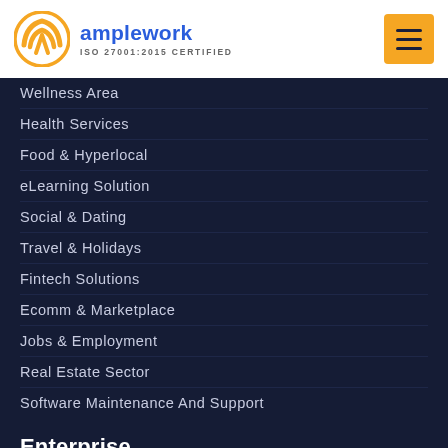[Figure (logo): Amplework logo with orange circular emblem and blue text reading 'amplework', ISO 27001:2015 CERTIFIED below]
Wellness Area
Health Services
Food & Hyperlocal
eLearning Solution
Social & Dating
Travel & Holidays
Fintech Solutions
Ecomm & Marketplace
Jobs & Employment
Real Estate Sector
Software Maintenance And Support
Enterprise
On Demand App Development